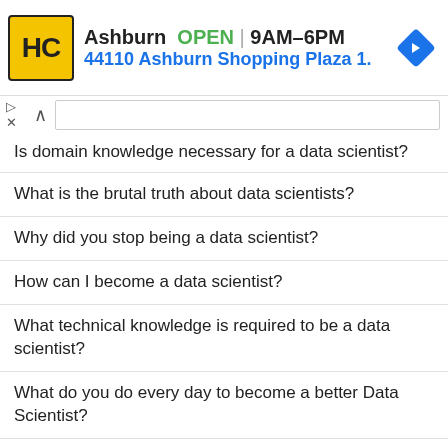[Figure (other): Advertisement banner for HC (Handyman Club or similar) showing Ashburn location, OPEN 9AM-6PM, address 44110 Ashburn Shopping Plaza 1., with yellow logo and blue navigation arrow icon]
Is domain knowledge necessary for a data scientist?
What is the brutal truth about data scientists?
Why did you stop being a data scientist?
How can I become a data scientist?
What technical knowledge is required to be a data scientist?
What do you do every day to become a better Data Scientist?
As a data scientist, what is your opinion on using Alteryx for data science?
How does a fresher get a Data scientist job in India?
What topics I should learn to be data scientist?
Is being a data scientist stressful?